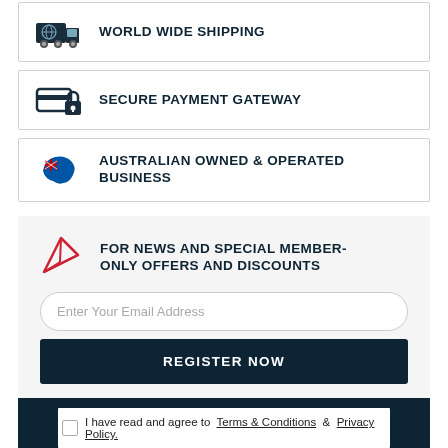[Figure (infographic): World wide shipping icon with delivery truck]
WORLD WIDE SHIPPING
[Figure (infographic): Secure payment gateway icon with credit card and lock]
SECURE PAYMENT GATEWAY
[Figure (infographic): Australian flag map icon]
AUSTRALIAN OWNED & OPERATED BUSINESS
FOR NEWS AND SPECIAL MEMBER-ONLY OFFERS AND DISCOUNTS
Enter Your Email Address
REGISTER NOW
I have read and agree to  Terms & Conditions  &  Privacy Policy.